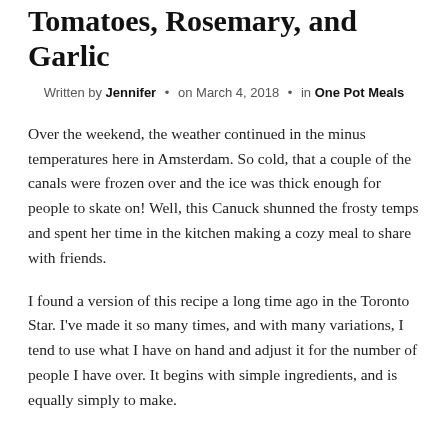Tomatoes, Rosemary, and Garlic
Written by Jennifer • on March 4, 2018 • in One Pot Meals
Over the weekend, the weather continued in the minus temperatures here in Amsterdam. So cold, that a couple of the canals were frozen over and the ice was thick enough for people to skate on! Well, this Canuck shunned the frosty temps and spent her time in the kitchen making a cozy meal to share with friends.
I found a version of this recipe a long time ago in the Toronto Star. I've made it so many times, and with many variations, I tend to use what I have on hand and adjust it for the number of people I have over. It begins with simple ingredients, and is equally simply to make.